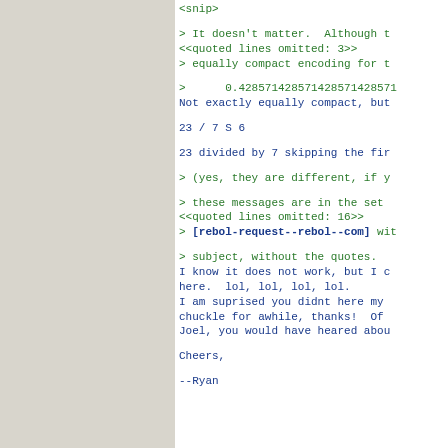<snip>
> It doesn't matter.  Although t
<<quoted lines omitted: 3>>
> equally compact encoding for t
>      0.428571428571428571428571
Not exactly equally compact, but
23 / 7 S 6
23 divided by 7 skipping the fir
> (yes, they are different, if y
> these messages are in the set
<<quoted lines omitted: 16>>
> [rebol-request--rebol--com] wit
> subject, without the quotes.
I know it does not work, but I c
here.  lol, lol, lol, lol.
I am suprised you didnt here my
chuckle for awhile, thanks!  Of
Joel, you would have heared abou
Cheers,
--Ryan